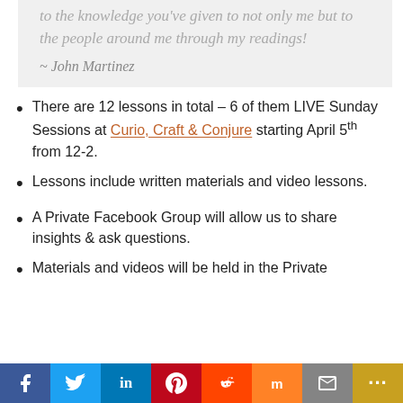to the knowledge you've given to not only me but to the people around me through my readings!
~ John Martinez
There are 12 lessons in total – 6 of them LIVE Sunday Sessions at Curio, Craft & Conjure starting April 5th from 12-2.
Lessons include written materials and video lessons.
A Private Facebook Group will allow us to share insights & ask questions.
Materials and videos will be held in the Private
f  Twitter  in  P  Reddit  m  Mail  More